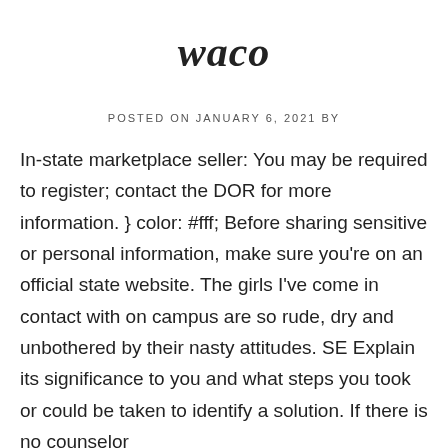waco
POSTED ON JANUARY 6, 2021 BY
In-state marketplace seller: You may be required to register; contact the DOR for more information. } color: #fff; Before sharing sensitive or personal information, make sure you're on an official state website. The girls I've come in contact with on campus are so rude, dry and unbothered by their nasty attitudes. SE Explain its significance to you and what steps you took or could be taken to identify a solution. If there is no counselor